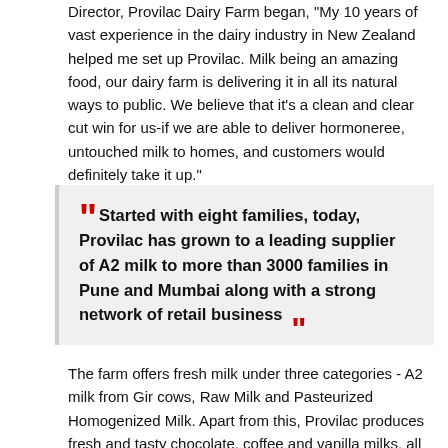Director, Provilac Dairy Farm began, "My 10 years of vast experience in the dairy industry in New Zealand helped me set up Provilac. Milk being an amazing food, our dairy farm is delivering it in all its natural ways to public. We believe that it's a clean and clear cut win for us-if we are able to deliver hormoneree, untouched milk to homes, and customers would definitely take it up."
Started with eight families, today, Provilac has grown to a leading supplier of A2 milk to more than 3000 families in Pune and Mumbai along with a strong network of retail business
The farm offers fresh milk under three categories - A2 milk from Gir cows, Raw Milk and Pasteurized Homogenized Milk. Apart from this, Provilac produces fresh and tasty chocolate, coffee and vanilla milks, all in organic way. Runwal says, "A2 milk, which is a healthier and premium variety of milk, is leading a revolution in the dairy industry across the world and it